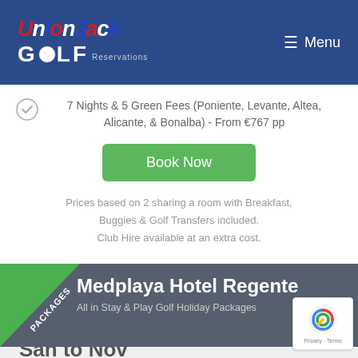Union Jack Golf Reservations — Menu
7 Nights & 5 Green Fees (Poniente, Levante, Altea, Alicante, & Bonalba) - From €767 pp
Book Now
Prices based on 2 sharing a room with Breakfast, Buggies & Golf Transfers included. Club Hire available at an extra cost.
Medplaya Hotel Regente
All in Stay & Play Golf Holiday Packages
San to Nov